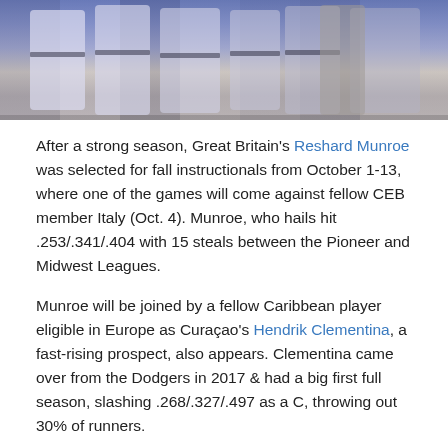[Figure (photo): Baseball players in blue and white uniforms grouped together, partial view from waist down with some figures in gray in the background.]
After a strong season, Great Britain's Reshard Munroe was selected for fall instructionals from October 1-13, where one of the games will come against fellow CEB member Italy (Oct. 4). Munroe, who hails hit .253/.341/.404 with 15 steals between the Pioneer and Midwest Leagues.
Munroe will be joined by a fellow Caribbean player eligible in Europe as Curaçao's Hendrik Clementina, a fast-rising prospect, also appears. Clementina came over from the Dodgers in 2017 & had a big first full season, slashing .268/.327/.497 as a C, throwing out 30% of runners.
Chicago (NL)